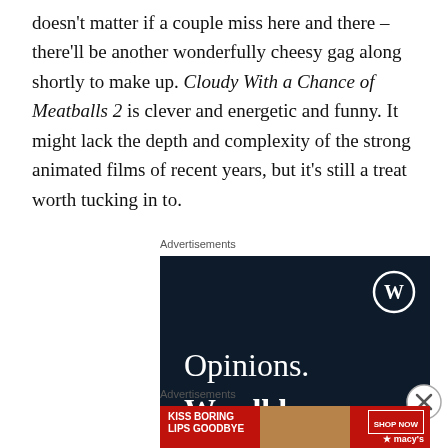doesn't matter if a couple miss here and there – there'll be another wonderfully cheesy gag along shortly to make up. Cloudy With a Chance of Meatballs 2 is clever and energetic and funny. It might lack the depth and complexity of the strong animated films of recent years, but it's still a treat worth tucking in to.
[Figure (other): WordPress advertisement with dark navy background showing WordPress circle logo and text 'Opinions. We all have them!']
[Figure (other): Macy's advertisement for lipstick: 'KISS BORING LIPS GOODBYE' with SHOP NOW button and Macy's logo star]